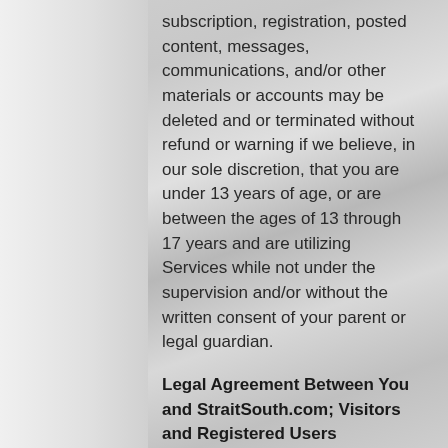subscription, registration, posted content, messages, communications, and/or other materials or accounts may be deleted and or terminated without refund or warning if we believe, in our sole discretion, that you are under 13 years of age, or are between the ages of 13 through 17 years and are utilizing Services while not under the supervision and/or without the written consent of your parent or legal guardian.
Legal Agreement Between You and StraitSouth.com; Visitors and Registered Users
These Terms of Service (TOS)